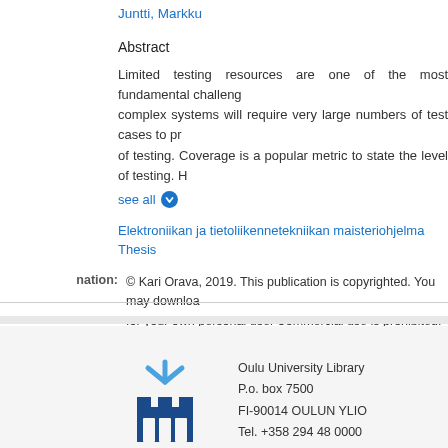Juntti, Markku
Abstract
Limited testing resources are one of the most fundamental challenges complex systems will require very large numbers of test cases to prove of testing. Coverage is a popular metric to state the level of testing. H
see all
Elektroniikan ja tietoliikennetekniikan maisteriohjelma
Thesis
© Kari Orava, 2019. This publication is copyrighted. You may download for your own personal use. Commercial use is prohibited.
[Figure (logo): Oulu University logo - stylized sunburst rays above a castle/building icon in dark blue]
Oulu University Library
P.o. box 7500
FI-90014 OULUN YLIO
Tel. +358 294 48 0000